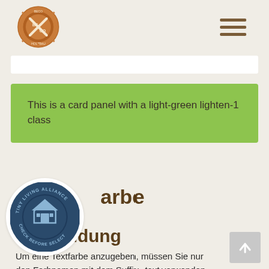[Figure (logo): BECO Holzbau circular saw blade logo with crossed hammers, brown/orange color scheme]
[Figure (other): Hamburger menu icon (three horizontal brown lines)]
This is a card panel with a light-green lighten-1 class
[Figure (logo): Tiny Living Alliance circular badge logo, dark blue/teal with house icon, 'CHECK BEFORE SELECT' text]
arbe
verwendung
Um eine Textfarbe anzugeben, müssen Sie nur den Farbnamen mit dem Suffix -text verwenden.